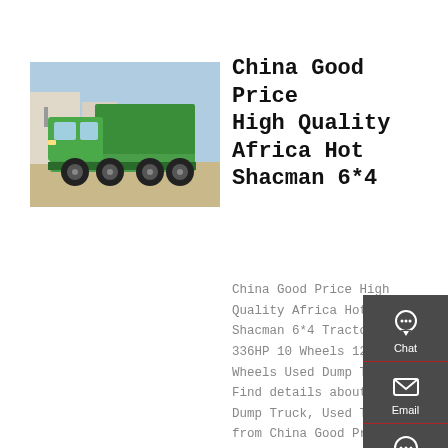[Figure (photo): Green dump truck (Shacman/HOWO style) parked outdoors]
China Good Price High Quality Africa Hot Shacman 6*4
China Good Price High Quality Africa Hot Shacman 6*4 Tractor 336HP 10 Wheels 12 Wheels Used Dump Truck Find details about Dump Truck, Used Truck from China Good Price High Quality Africa Hot Shacman 6*4 Tractor